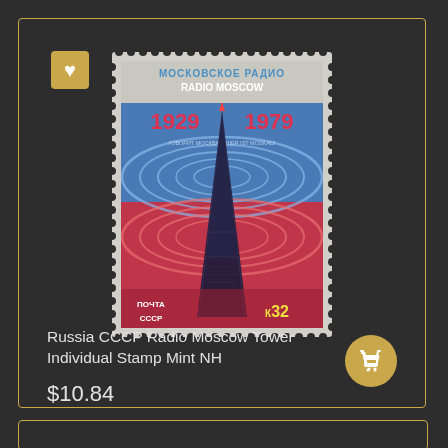[Figure (photo): Soviet USSR postage stamp - Radio Moscow Tower stamp from 1979. Shows the Shukhov Tower with radio waves emanating, text 'МОСКОВСКОЕ РАДИО / RADIO MOSCOW', years '1929 1979', ПОЧТА СССР, К32 denomination. Gray perforated border stamp with blue and red radio wave design.]
Russia CCCP Radio Moscow Tower Individual Stamp Mint NH
$10.84